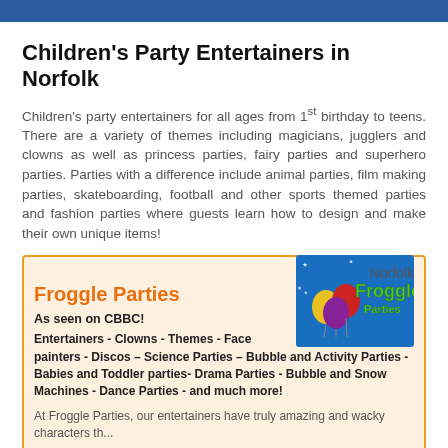Children's Party Entertainers in Norfolk
Children's party entertainers for all ages from 1st birthday to teens. There are a variety of themes including magicians, jugglers and clowns as well as princess parties, fairy parties and superhero parties. Parties with a difference include animal parties, film making parties, skateboarding, football and other sports themed parties and fashion parties where guests learn how to design and make their own unique items!
Norfolk
Froggle Parties
As seen on CBBC!
Entertainers - Clowns - Themes - Face painters - Discos – Science Parties – Bubble and Activity Parties - Babies and Toddler parties- Drama Parties - Bubble and Snow Machines - Dance Parties - and much more!
At Froggle Parties, our entertainers have truly amazing and wacky characters th...
read more